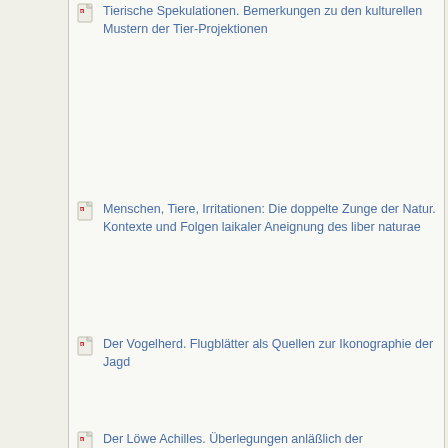Tierische Spekulationen. Bemerkungen zu den kulturellen Mustern der Tier-Projektionen
Menschen, Tiere, Irritationen: Die doppelte Zunge der Natur. Kontexte und Folgen laikaler Aneignung des liber naturae
Der Vogelherd. Flugblätter als Quellen zur Ikonographie der Jagd
Der Löwe Achilles. Überlegungen anläßlich der Metaphernlehre des Aristoteles
Das Buch der Natur. Der Einfluß der Physikotheologie auf das neuzeitliche